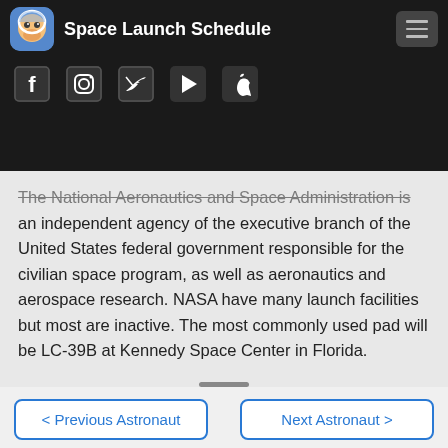Space Launch Schedule
[Figure (logo): Social media icons row: Facebook, Instagram, Twitter, Google Play, Apple]
The National Aeronautics and Space Administration is an independent agency of the executive branch of the United States federal government responsible for the civilian space program, as well as aeronautics and aerospace research. NASA have many launch facilities but most are inactive. The most commonly used pad will be LC-39B at Kennedy Space Center in Florida.
< Previous Astronaut    Next Astronaut >